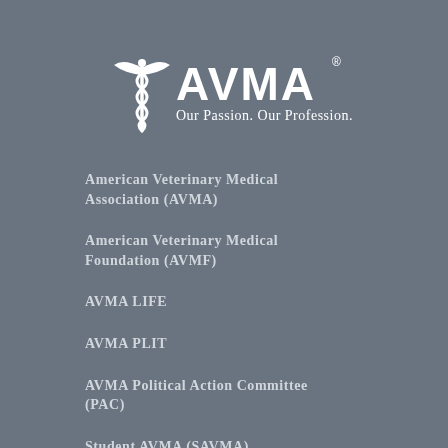[Figure (logo): AVMA logo with caduceus symbol and tagline 'Our Passion. Our Profession.']
American Veterinary Medical Association (AVMA)
American Veterinary Medical Foundation (AVMF)
AVMA LIFE
AVMA PLIT
AVMA Political Action Committee (PAC)
Student AVMA (SAVMA)
Contact us
Work at AVMA